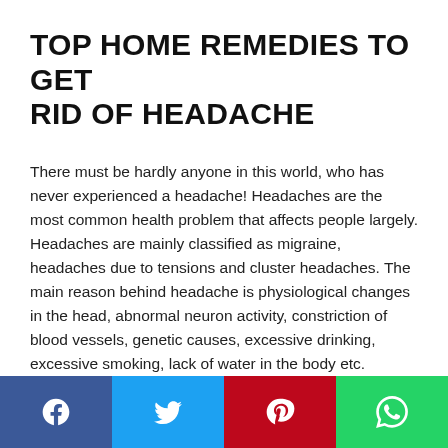TOP HOME REMEDIES TO GET RID OF HEADACHE
There must be hardly anyone in this world, who has never experienced a headache! Headaches are the most common health problem that affects people largely. Headaches are mainly classified as migraine, headaches due to tensions and cluster headaches. The main reason behind headache is physiological changes in the head, abnormal neuron activity, constriction of blood vessels, genetic causes, excessive drinking, excessive smoking, lack of water in the body etc.
[Figure (other): Social share bar with four buttons: Facebook (blue), Twitter (light blue), Pinterest (red), WhatsApp (green)]